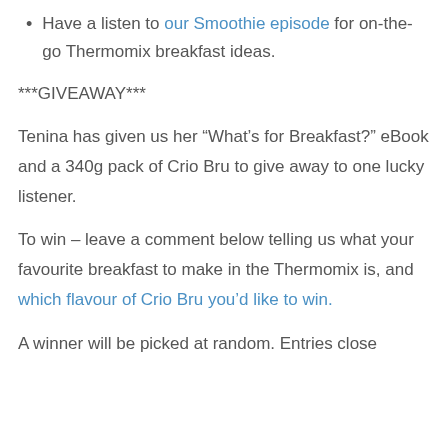Have a listen to our Smoothie episode for on-the-go Thermomix breakfast ideas.
***GIVEAWAY***
Tenina has given us her “What’s for Breakfast?” eBook and a 340g pack of Crio Bru to give away to one lucky listener.
To win – leave a comment below telling us what your favourite breakfast to make in the Thermomix is, and which flavour of Crio Bru you’d like to win.
A winner will be picked at random. Entries close